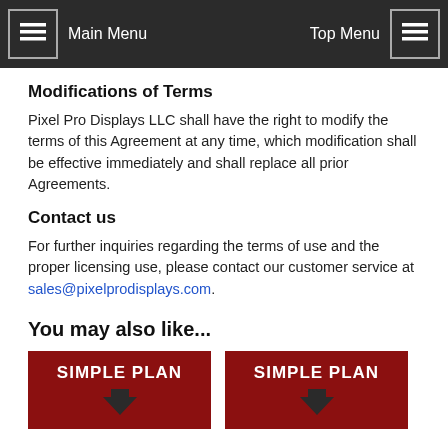Main Menu | Top Menu
Modifications of Terms
Pixel Pro Displays LLC shall have the right to modify the terms of this Agreement at any time, which modification shall be effective immediately and shall replace all prior Agreements.
Contact us
For further inquiries regarding the terms of use and the proper licensing use, please contact our customer service at sales@pixelprodisplays.com.
You may also like...
[Figure (photo): Two Simple Plan promotional images side by side, showing white text 'SIMPLE PLAN' on a dark red background with a dark arrow/spade shape below.]